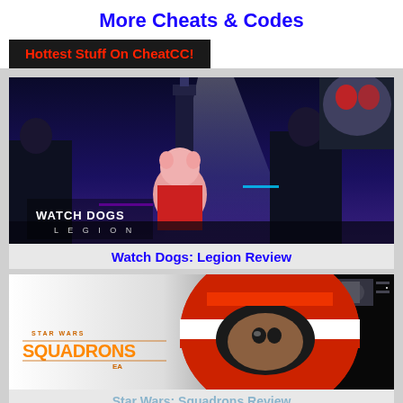More Cheats & Codes
Hottest Stuff On CheatCC!
[Figure (photo): Watch Dogs Legion game promotional image showing characters in futuristic London]
Watch Dogs: Legion Review
[Figure (photo): Star Wars Squadrons game promotional image showing a pilot with fighter spacecraft]
Star Wars: Squadrons Review